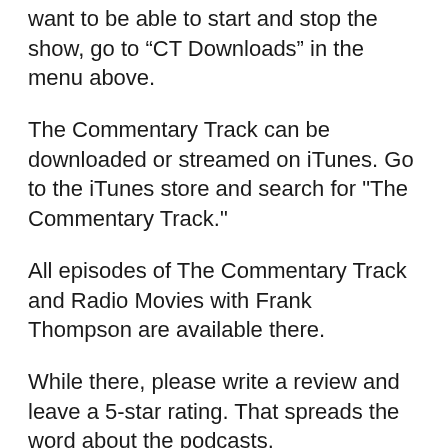want to be able to start and stop the show, go to “CT Downloads” in the menu above.
The Commentary Track can be downloaded or streamed on iTunes. Go to the iTunes store and search for "The Commentary Track."
All episodes of The Commentary Track and Radio Movies with Frank Thompson are available there.
While there, please write a review and leave a 5-star rating. That spreads the word about the podcasts.
Podcasts are also available on the following website: